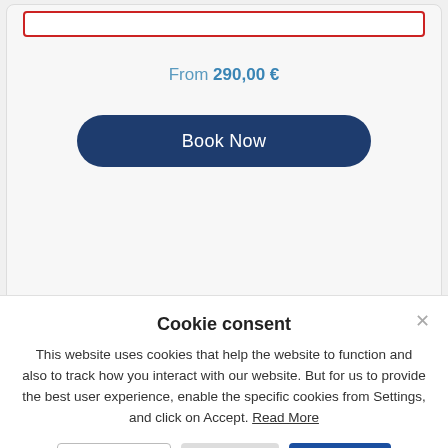From 290,00 €
Book Now
Cookie consent
This website uses cookies that help the website to function and also to track how you interact with our website. But for us to provide the best user experience, enable the specific cookies from Settings, and click on Accept. Read More
Preferences
Reject All
Accept All